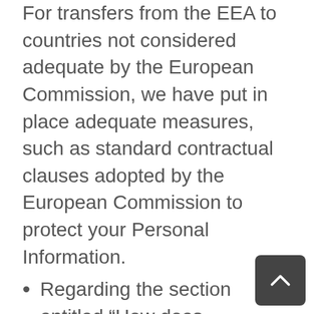For transfers from the EEA to countries not considered adequate by the European Commission, we have put in place adequate measures, such as standard contractual clauses adopted by the European Commission to protect your Personal Information.
Regarding the section entitled “How does Vivametrica retain Personal Information?” in above: We keep your Personal Information for as long as needed or